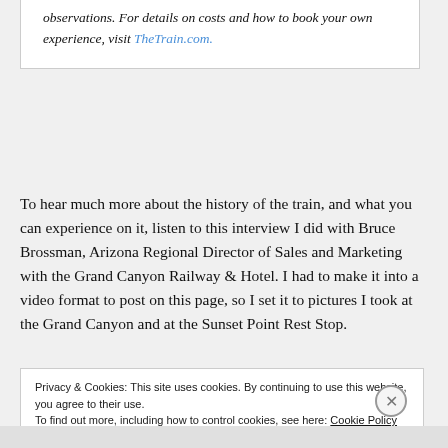observations. For details on costs and how to book your own experience, visit TheTrain.com.
To hear much more about the history of the train, and what you can experience on it, listen to this interview I did with Bruce Brossman, Arizona Regional Director of Sales and Marketing with the Grand Canyon Railway & Hotel. I had to make it into a video format to post on this page, so I set it to pictures I took at the Grand Canyon and at the Sunset Point Rest Stop.
Privacy & Cookies: This site uses cookies. By continuing to use this website, you agree to their use. To find out more, including how to control cookies, see here: Cookie Policy
Close and accept